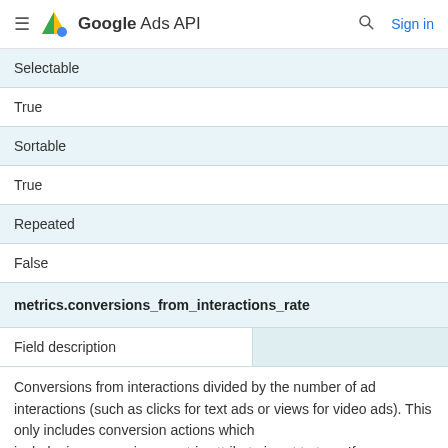Google Ads API
| Selectable |  |
| True |  |
| Sortable |  |
| True |  |
| Repeated |  |
| False |  |
| metrics.conversions_from_interactions_rate |  |
| Field description |  |
Conversions from interactions divided by the number of ad interactions (such as clicks for text ads or views for video ads). This only includes conversion actions which include_in_conversions_metric attribute is set to true. If you use conversion-based bidding, your bid strategies will optimize for